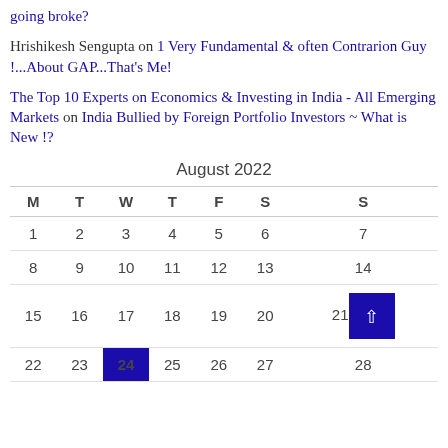going broke?
Hrishikesh Sengupta on 1 Very Fundamental & often Contrarion Guy !...About GAP...That's Me!
The Top 10 Experts on Economics & Investing in India - All Emerging Markets on India Bullied by Foreign Portfolio Investors ~ What is New !?
| M | T | W | T | F | S | S |
| --- | --- | --- | --- | --- | --- | --- |
| 1 | 2 | 3 | 4 | 5 | 6 | 7 |
| 8 | 9 | 10 | 11 | 12 | 13 | 14 |
| 15 | 16 | 17 | 18 | 19 | 20 | 21 |
| 22 | 23 | 24 | 25 | 26 | 27 | 28 |